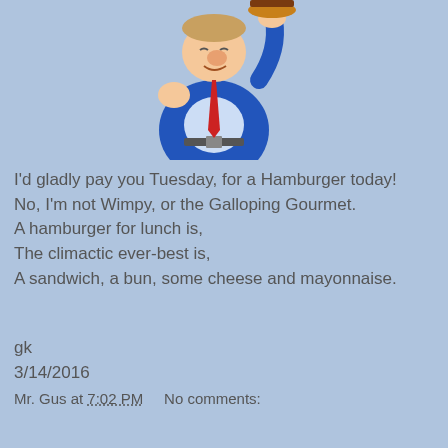[Figure (illustration): Cartoon illustration of a chubby man in a blue suit and red tie holding up a large hamburger, shown from the waist up against a light blue background.]
I'd gladly pay you Tuesday, for a Hamburger today!
No, I'm not Wimpy, or the Galloping Gourmet.
A hamburger for lunch is,
The climactic ever-best is,
A sandwich, a bun, some cheese and mayonnaise.
gk
3/14/2016
Mr. Gus at 7:02 PM    No comments:
Share